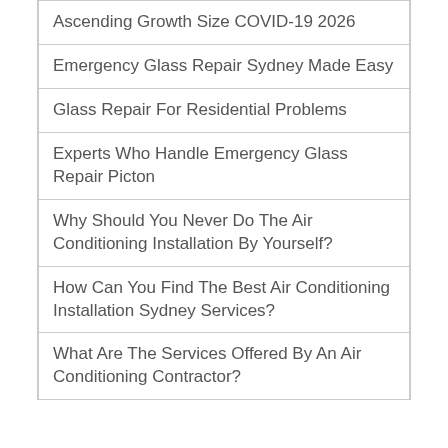Ascending Growth Size COVID-19 2026
Emergency Glass Repair Sydney Made Easy
Glass Repair For Residential Problems
Experts Who Handle Emergency Glass Repair Picton
Why Should You Never Do The Air Conditioning Installation By Yourself?
How Can You Find The Best Air Conditioning Installation Sydney Services?
What Are The Services Offered By An Air Conditioning Contractor?